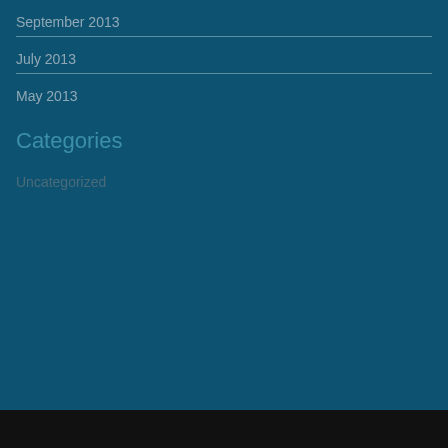September 2013
July 2013
May 2013
Categories
Uncategorized